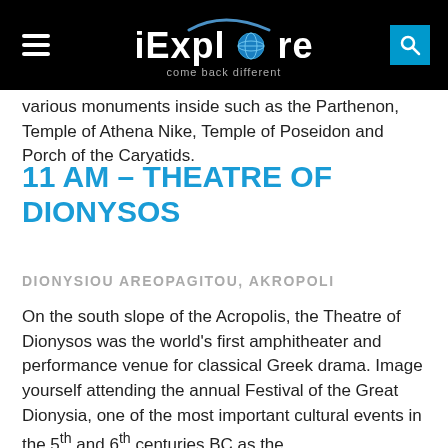iExplore — come back different
various monuments inside such as the Parthenon, Temple of Athena Nike, Temple of Poseidon and Porch of the Caryatids.
11 AM – THEATRE OF DIONYSOS
DIONYSIOU AREOPAGITOU, AKROPOLI
On the south slope of the Acropolis, the Theatre of Dionysos was the world's first amphitheater and performance venue for classical Greek drama. Image yourself attending the annual Festival of the Great Dionysia, one of the most important cultural events in the 5th and 6th centuries BC as the